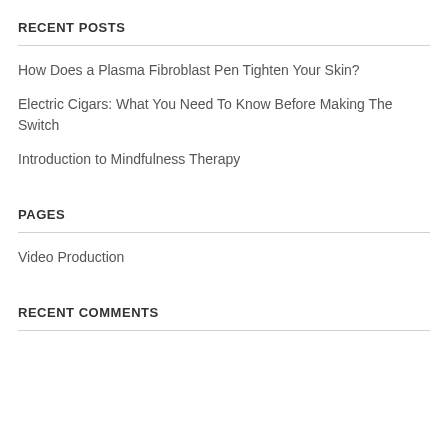RECENT POSTS
How Does a Plasma Fibroblast Pen Tighten Your Skin?
Electric Cigars: What You Need To Know Before Making The Switch
Introduction to Mindfulness Therapy
PAGES
Video Production
RECENT COMMENTS